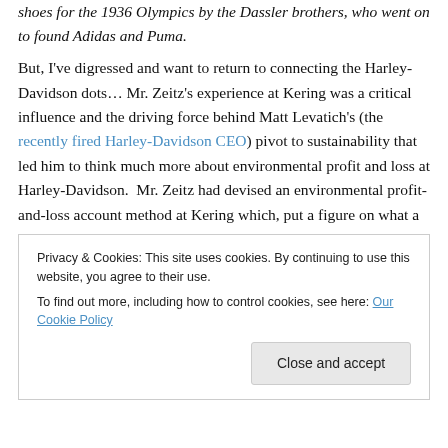shoes for the 1936 Olympics by the Dassler brothers, who went on to found Adidas and Puma.
But, I've digressed and want to return to connecting the Harley-Davidson dots… Mr. Zeitz's experience at Kering was a critical influence and the driving force behind Matt Levatich's (the recently fired Harley-Davidson CEO) pivot to sustainability that led him to think much more about environmental profit and loss at Harley-Davidson.  Mr. Zeitz had devised an environmental profit-and-loss account method at Kering which, put a figure on what a company's air pollution, land use, water use and carbon
Privacy & Cookies: This site uses cookies. By continuing to use this website, you agree to their use.
To find out more, including how to control cookies, see here: Our Cookie Policy